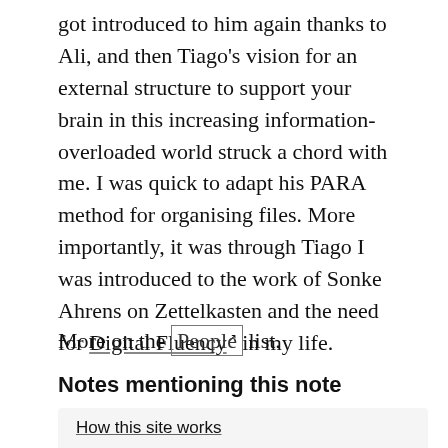got introduced to him again thanks to Ali, and then Tiago's vision for an external structure to support your brain in this increasing information-overloaded world struck a chord with me. I was quick to adapt his PARA method for organising files. More importantly, it was through Tiago I was introduced to the work of Sonke Ahrens on Zettelkasten and the need for Digital Fluency in my life.
More on the People list.
Notes mentioning this note
How this site works
Tldr This digital garden is written in jekyll and powered by Netlify static site generator. The notes are taken in...